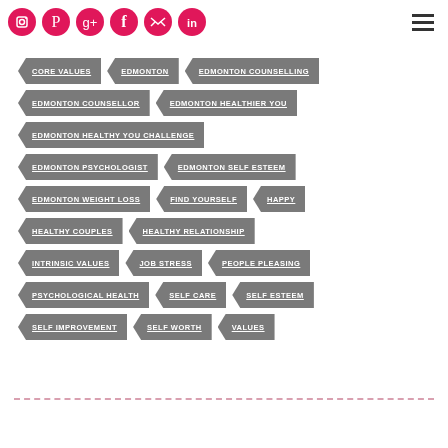[Figure (infographic): Social media icons row: Instagram, Pinterest, Google+, Facebook, Twitter, LinkedIn — pink circles with white icons]
[Figure (infographic): Hamburger menu icon (three horizontal dark bars) in top right corner]
CORE VALUES
EDMONTON
EDMONTON COUNSELLING
EDMONTON COUNSELLOR
EDMONTON HEALTHIER YOU
EDMONTON HEALTHY YOU CHALLENGE
EDMONTON PSYCHOLOGIST
EDMONTON SELF ESTEEM
EDMONTON WEIGHT LOSS
FIND YOURSELF
HAPPY
HEALTHY COUPLES
HEALTHY RELATIONSHIP
INTRINSIC VALUES
JOB STRESS
PEOPLE PLEASING
PSYCHOLOGICAL HEALTH
SELF CARE
SELF ESTEEM
SELF IMPROVEMENT
SELF WORTH
VALUES